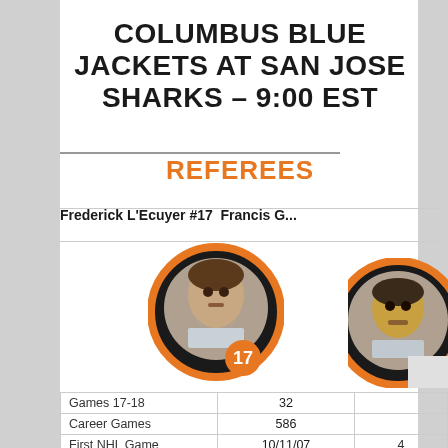COLUMBUS BLUE JACKETS AT SAN JOSE SHARKS – 9:00 EST
REFEREES
Frederick L'Ecuyer #17  Francis ...
[Figure (photo): Hockey puck graphic with referee #17 face photo inside]
[Figure (photo): Hockey puck graphic with second referee face photo inside (partially visible)]
|  | Frederick L'Ecuyer | Francis ... |
| --- | --- | --- |
| Games 17-18 | 32 |  |
| Career Games | 586 |  |
| First NHL Game | 10/11/07 | 4... |
| Birthplace | Trois-Rivieres, QC | Otta... |
| Goals/Gm | 6.4 (6) | 6... |